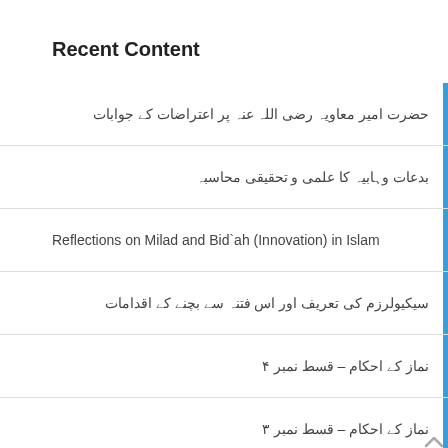Recent Content
حضرت امیر معاویہ رضی اللہ عنہ پر اعتراضات کے جوابات
بدعات وہابیہ کا علمی و تحقیقی محاسبہ
Reflections on Milad and Bid`ah (Innovation) in Islam
سیکیولرزم کی تعریف اور اس فتنہ سے بچنے کے اقدامات
نماز کے احکام – قسط نمبر ۴
نماز کے احکام – قسط نمبر ۳
نماز کے احکام – قسط نمبر ۲